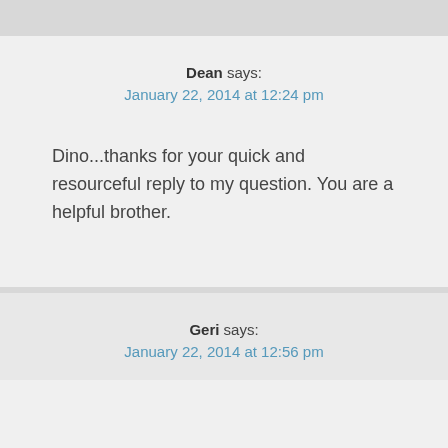Dean says: January 22, 2014 at 12:24 pm
Dino...thanks for your quick and resourceful reply to my question. You are a helpful brother.
Geri says: January 22, 2014 at 12:56 pm